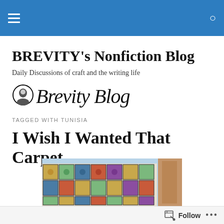Navigation bar with hamburger menu and search icon
BREVITY's Nonfiction Blog
Daily Discussions of craft and the writing life
[Figure (logo): Brevity Blog logo with small portrait icon and serif text 'Brevity Blog']
TAGGED WITH TUNISIA
I Wish I Wanted That Carpet
[Figure (photo): Colorful decorative tile mosaic wall with floral and geometric patterns, building facade]
Follow • • •